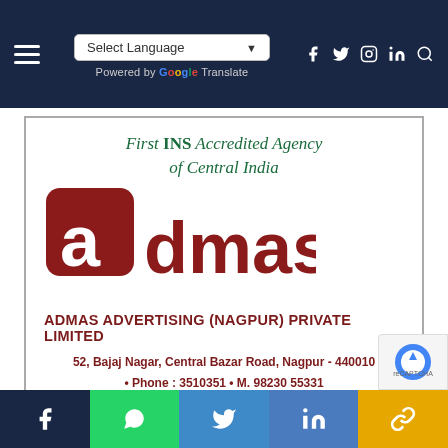Select Language | Social icons (Facebook, Twitter, Instagram, LinkedIn, Search)
[Figure (logo): ADMAS Advertising logo with red stylized 'a' icon and bold red 'admas' text, with tagline 'First INS Accredited Agency of Central India' and company details]
Social share bar: Facebook, WhatsApp, Twitter, LinkedIn, Link